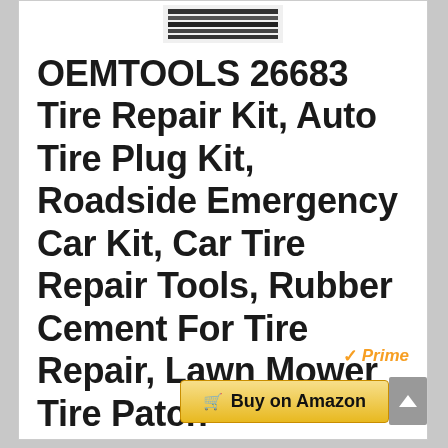[Figure (photo): Product image thumbnail showing tire repair kit tools, rendered as a small black and white striped image at top center]
OEMTOOLS 26683 Tire Repair Kit, Auto Tire Plug Kit, Roadside Emergency Car Kit, Car Tire Repair Tools, Rubber Cement For Tire Repair, Lawn Mower Tire Patch
[Figure (logo): Amazon Prime badge with orange checkmark and italic Prime text]
Buy on Amazon